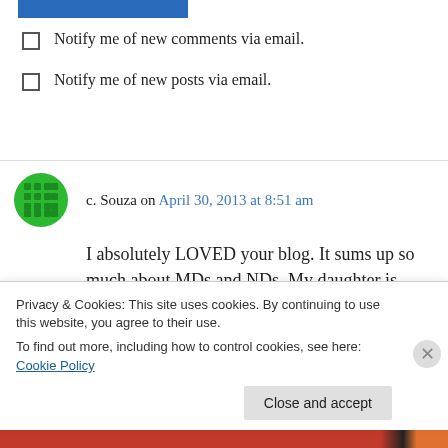[Figure (other): Blue button/bar at top]
Notify me of new comments via email.
Notify me of new posts via email.
c. Souza on April 30, 2013 at 8:51 am
I absolutely LOVED your blog. It sums up so much about MDs and NDs. My daughter is starting Portland this fall (2013) and we all have similar “fears”. ND?? ND?? What the heck is an
Privacy & Cookies: This site uses cookies. By continuing to use this website, you agree to their use.
To find out more, including how to control cookies, see here: Cookie Policy
Close and accept